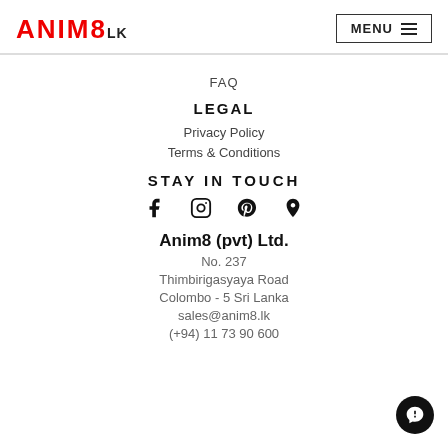ANIM8.LK
FAQ
LEGAL
Privacy Policy
Terms & Conditions
STAY IN TOUCH
[Figure (other): Social media icons: Facebook, Instagram, Pinterest, Location/Map pin]
Anim8 (pvt) Ltd.
No. 237
Thimbirigasyaya Road
Colombo - 5 Sri Lanka
sales@anim8.lk
(+94) 11 73 90 600